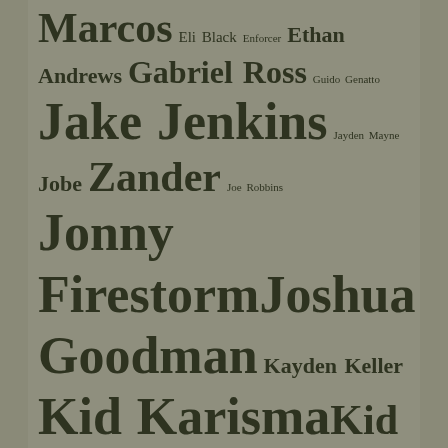Marcos Eli Black Enforcer Ethan Andrews Gabriel Ross Guido Genatto Jake Jenkins Jayden Mayne Jobe Zander Joe Robbins Jonny Firestorm Joshua Goodman Kayden Keller Kid Karisma Kid Leopard Kid Vicious Kip Sorell Kirk Donahue Lon Dumont Lorenzo Lowe Mason Brooks Michael Vineland Mikey Vee Mitch Colby Morgan Cruise Patrick Donovan Pete Sharp Rafe Sanchez Reese Wells Richie Douglas Rio Garza Rusty Stevens Scott Williams Shane McCall Skip